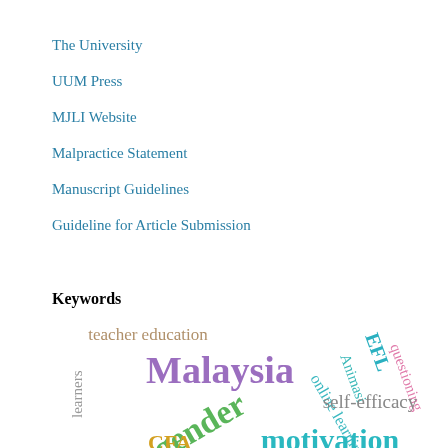The University
UUM Press
MJLI Website
Malpractice Statement
Manuscript Guidelines
Guideline for Article Submission
Keywords
[Figure (infographic): Word cloud containing keywords: teacher education, Malaysia (large, purple), gender (large, green, angled), Animasi (angled, teal), questioning (angled, pink), EFL (teal), online learning (angled, teal), self-efficacy (gray), motivation (large, teal, partially visible), CFA (yellow-orange, partially visible), learners (vertical, gray, partially visible)]